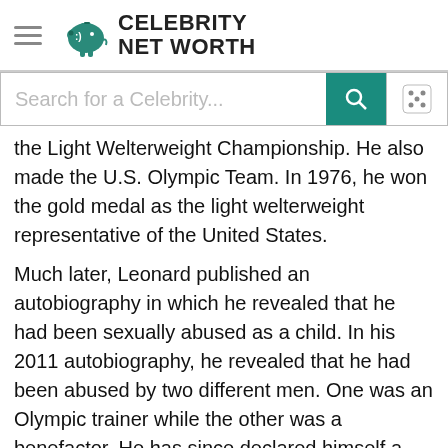Celebrity Net Worth
Search for a Celebrity...
the Light Welterweight Championship. He also made the U.S. Olympic Team. In 1976, he won the gold medal as the light welterweight representative of the United States.
Much later, Leonard published an autobiography in which he revealed that he had been sexually abused as a child. In his 2011 autobiography, he revealed that he had been abused by two different men. One was an Olympic trainer while the other was a benefactor. He has since declared himself a "poster child" for child molestation, and he actively encourages other victims to come forward and report their abuse.
Sugar Ray Leonard decided to become a professional